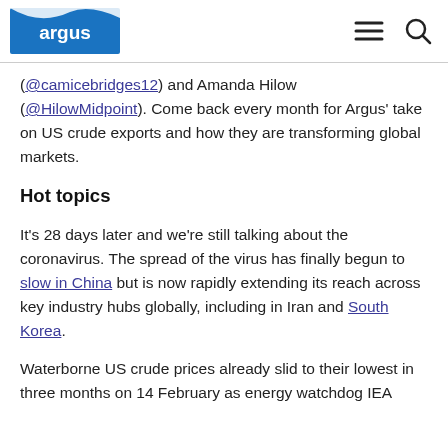argus
(@camicebridges12) and Amanda Hilow (@HilowMidpoint). Come back every month for Argus' take on US crude exports and how they are transforming global markets.
Hot topics
It's 28 days later and we're still talking about the coronavirus. The spread of the virus has finally begun to slow in China but is now rapidly extending its reach across key industry hubs globally, including in Iran and South Korea.
Waterborne US crude prices already slid to their lowest in three months on 14 February as energy watchdog IEA